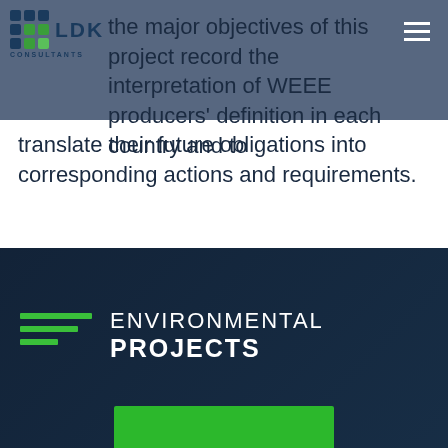[Figure (logo): LDK Consultants logo with colored dot grid]
the major objectives of this project record the interpretation of WEEE producers' definition in each country and to translate their future obligations into corresponding actions and requirements.
ENVIRONMENTAL PROJECTS
[Figure (illustration): Green banner/card at the bottom of the dark section]